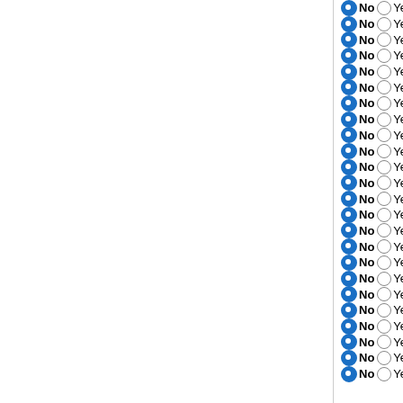No Yes Trichophyton rubrum CBS 11
No Yes Uncinocarpus reesii 1704
No Yes Aspergillus zonatus v1.0
No Yes Penicillium chrysogenum Wi
No Yes Penicillium chrysogenum v1.
No Yes Aspergillus acidus v1.0
No Yes Aspergillus fumigatus Af293
No Yes Aspergillus brasiliensis v1.0
No Yes Aspergillus nidulans FGSC A
No Yes Aspergillus sydowii v1.0
No Yes Aspergillus versicolor v1.0
No Yes Aspergillus glaucus
No Yes Aspergillus carbonarius ITEM
No Yes Neosartorya fischeri NRRL 1
No Yes Aspergillus terreus NIH2624
No Yes Aspergillus tubingensis v1.0
No Yes Aspergillus wentii v1.0
No Yes Aspergillus oryzae RIB40
No Yes Aspergillus niger 22
No Yes Aspergillus niger ATCC 1015
No Yes Aspergillus flavus NRRL3357
No Yes Aspergillus clavatus NRRL 1
No Yes Penicillium marneffei ATCC 1
No Yes Tuber melanosporum Mel28